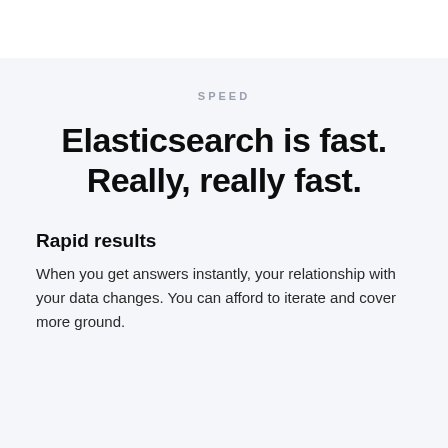SPEED
Elasticsearch is fast. Really, really fast.
Rapid results
When you get answers instantly, your relationship with your data changes. You can afford to iterate and cover more ground.